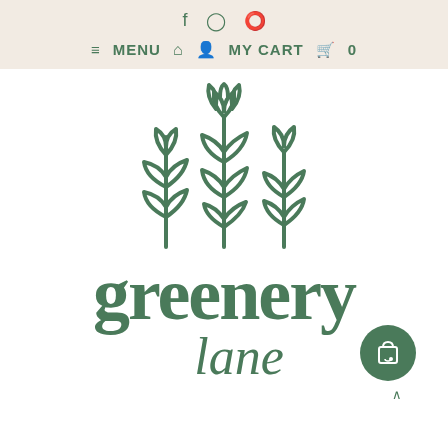f  ☉  𝗣  ≡ MENU  ⌂  👤  MY CART  🛒  0
[Figure (logo): Three stylized plant/flower illustrations in dark green, hand-drawn style with stems and leaves]
greenery lane